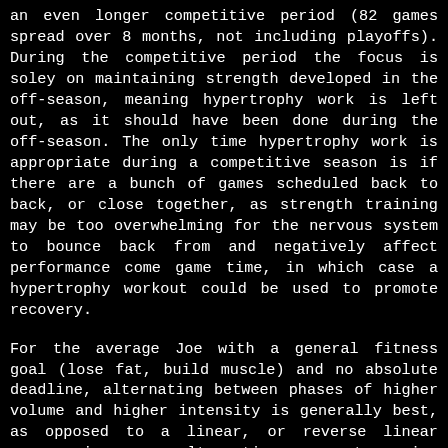an even longer competitive period (82 games spread over 8 months, not including playoffs). During the competitive period the focus is soley on maintaining strength developed in the off-season, meaning hypertrophy work is left out, as it should have been done during the off-season. The only time hypertrophy work is appropriate during a competitive season is if there are a bunch of games scheduled back to back, or close together, as strength training may be too overwhelming for the nervous system to bounce back from and negatively affect performance come game time, in which case a hypertrophy workout could be used to promote recovery.
For the average Joe with a general fitness goal (lose fat, build muscle) and no absolute deadline, alternating between phases of higher volume and higher intensity is generally best, as opposed to a linear, or reverse linear progression, as alternating prevents gains that were made from being lost. For example, the quality that is developed from performing a high volume of work is drastically different from that which is developed from highly intensive work, and transitioning from volume to intensity, or vice versa, could